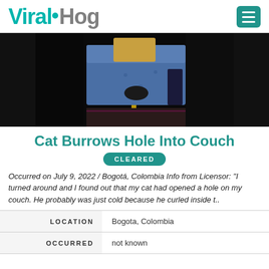ViralHog
[Figure (photo): Photo of a blue upholstered couch/ottoman with a hole burrowed into it by a cat. The furniture sits on a dark floor, with dark background.]
Cat Burrows Hole Into Couch
CLEARED
Occurred on July 9, 2022 / Bogotá, Colombia Info from Licensor: "I turned around and I found out that my cat had opened a hole on my couch. He probably was just cold because he curled inside t..
|  |  |
| --- | --- |
| LOCATION | Bogota, Colombia |
| OCCURRED | not known |